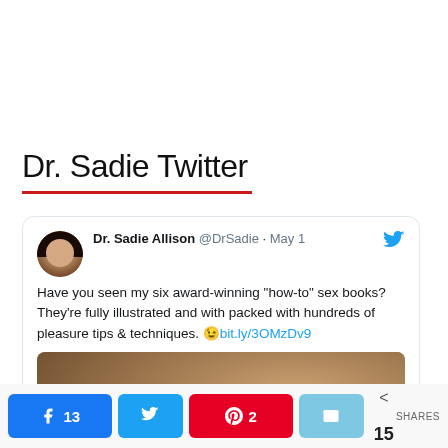Dr. Sadie Twitter
[Figure (screenshot): Embedded tweet from Dr. Sadie Allison (@DrSadie) dated May 1. Tweet text: Have you seen my six award-winning "how-to" sex books? They're fully illustrated and with packed with hundreds of pleasure tips & techniques. 😉 bit.ly/3OMzDv9. Includes a profile photo of Dr. Sadie Allison and a partially visible photo below.]
13  [Twitter share]  2  [Email share]  < 15 SHARES